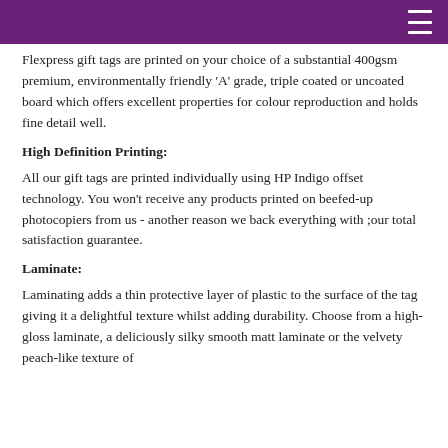Flexpress gift tags are printed on your choice of a substantial 400gsm premium, environmentally friendly 'A' grade, triple coated or uncoated board which offers excellent properties for colour reproduction and holds fine detail well.
High Definition Printing:
All our gift tags are printed individually using HP Indigo offset technology. You won't receive any products printed on beefed-up photocopiers from us - another reason we back everything with ;our total satisfaction guarantee.
Laminate:
Laminating adds a thin protective layer of plastic to the surface of the tag giving it a delightful texture whilst adding durability. Choose from a high-gloss laminate, a deliciously silky smooth matt laminate or the velvety peach-like texture of